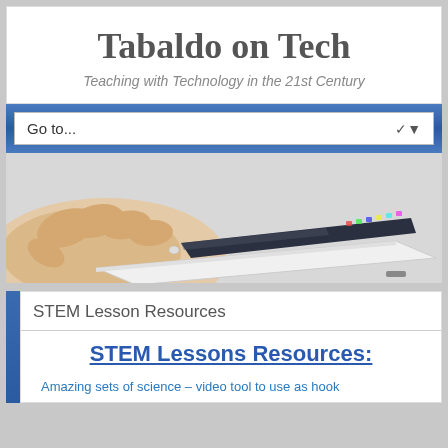Tabaldo on Tech
Teaching with Technology in the 21st Century
Go to...
[Figure (photo): A hand holding a white iPad tablet, shown from the side at a slight angle, displaying a colorful home screen with app icons.]
STEM Lesson Resources
STEM Lessons Resources:
Amazing sets of science – video tool to use as hook